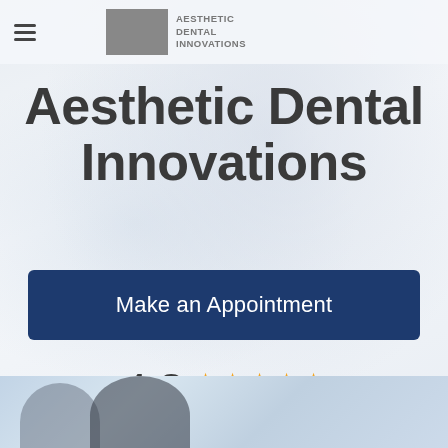Aesthetic Dental Innovations
Aesthetic Dental Innovations
Make an Appointment
4.8 ★★★★★ powered by Google
[Figure (photo): Photo strip at bottom showing two people smiling, blurred background with bokeh lighting]